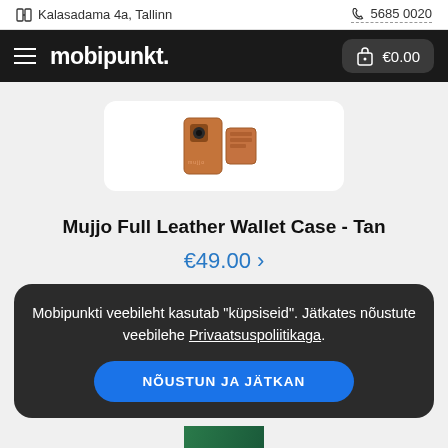Kalasadama 4a, Tallinn | 5685 0020
mobipunkt.
[Figure (photo): Product photo of Mujjo Full Leather Wallet Case in Tan color, showing brown leather case]
Mujjo Full Leather Wallet Case - Tan
€49.00 ›
Mobipunkti veebileht kasutab "küpsiseid". Jätkates nõustute veebilehe Privaatsuspoliitikaga.
NÕUSTUN JA JÄTKAN